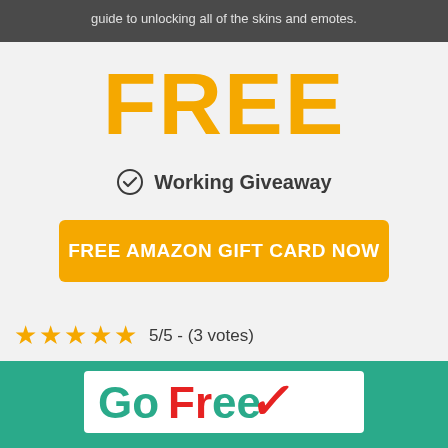guide to unlocking all of the skins and emotes.
FREE
Working Giveaway
FREE AMAZON GIFT CARD NOW
5/5 - (3 votes)
[Figure (logo): GoFreex or similar brand logo in green and red on white background]